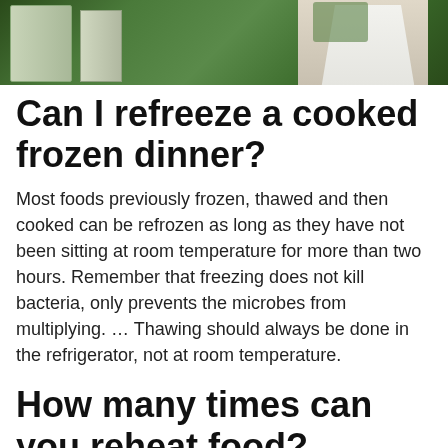[Figure (photo): A chef or person in a white coat near a refrigerator with green produce visible in the background.]
Can I refreeze a cooked frozen dinner?
Most foods previously frozen, thawed and then cooked can be refrozen as long as they have not been sitting at room temperature for more than two hours. Remember that freezing does not kill bacteria, only prevents the microbes from multiplying. … Thawing should always be done in the refrigerator, not at room temperature.
How many times can you reheat food?